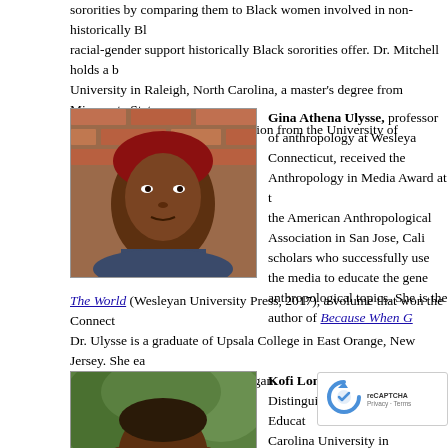sororities by comparing them to Black women involved in non-historically Bl... racial-gender support historically Black sororities offer. Dr. Mitchell holds a b... University in Raleigh, North Carolina, a master's degree from Minnesota Stat... educational policy and administration from the University of Minnesota, Twin...
[Figure (photo): Portrait photo of Gina Athena Ulysse, a Black woman with short reddish hair, in front of a brick wall background.]
Gina Athena Ulysse, professor of anthropology at Wesleyan... Connecticut, received the Anthropology in Media Award at t... the American Anthropological Association in San Jose, Calif... scholars who successfully use the media to educate the gene... anthropological topics. She is the author of Because When G... The World (Wesleyan University Press, 2017), a volume that won the Connect... Dr. Ulysse is a graduate of Upsala College in East Orange, New Jersey. She ea... a Ph.D. at the University of Michigan.
[Figure (photo): Portrait photo of Kofi Lomotey, a Black man with glasses, smiling, in an outdoor setting.]
Kofi Lomotey, the Bardo Distinguished Professor of Educat... Carolina University in Cullowhee, North Carolina, has recei... award for 2018 by the University Council for Educational Ac... given to annually to educators who are foundational scholars... broken barriers, disrupted the status quo, and opened doors o... and policy. Dr. Lomotey has been a WCU faculty member since ... economics from Oberlin College in Ohio, a master of education i... Cleveland State University, and a master's degree and Ph.D. bot... analysis from Stanford University.